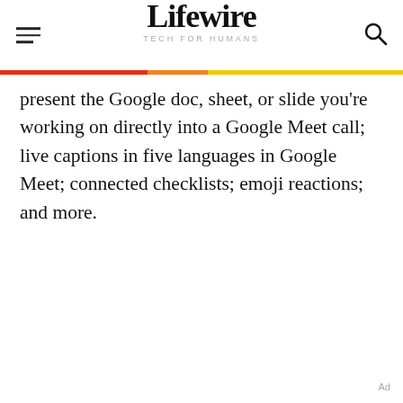Lifewire TECH FOR HUMANS
present the Google doc, sheet, or slide you're working on directly into a Google Meet call; live captions in five languages in Google Meet; connected checklists; emoji reactions; and more.
Ad